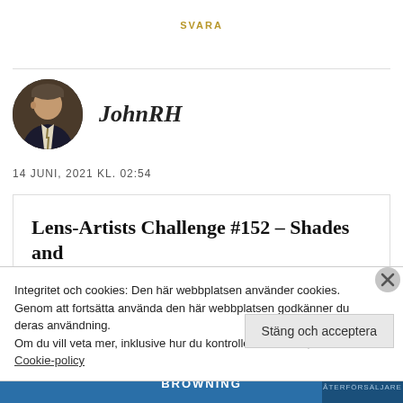SVARA
[Figure (photo): Circular avatar photo of a middle-aged man in a suit]
JohnRH
14 JUNI, 2021 KL. 02:54
Lens-Artists Challenge #152 – Shades and
Integritet och cookies: Den här webbplatsen använder cookies. Genom att fortsätta använda den här webbplatsen godkänner du deras användning.
Om du vill veta mer, inklusive hur du kontrollerar cookies, se:
Cookie-policy
Stäng och acceptera